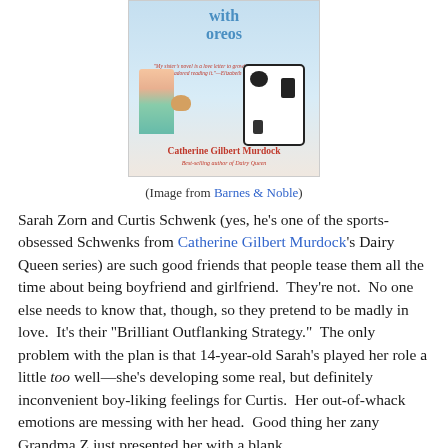[Figure (photo): Book cover of a novel featuring a girl's legs in teal sneakers next to a cow-print suitcase with a small dog, title text 'with oreos' visible, author name 'Catherine Gilbert Murdock', subtitle 'Best-selling author of Dairy Queen']
(Image from Barnes & Noble)
Sarah Zorn and Curtis Schwenk (yes, he's one of the sports-obsessed Schwenks from Catherine Gilbert Murdock's Dairy Queen series) are such good friends that people tease them all the time about being boyfriend and girlfriend.  They're not.  No one else needs to know that, though, so they pretend to be madly in love.  It's their "Brilliant Outflanking Strategy."  The only problem with the plan is that 14-year-old Sarah's played her role a little too well—she's developing some real, but definitely inconvenient boy-liking feelings for Curtis.  Her out-of-whack emotions are messing with her head.  Good thing her zany Grandma Z just presented her with a blank